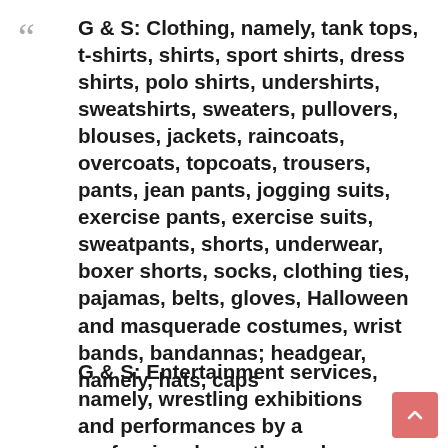G & S: Clothing, namely, tank tops, t-shirts, shirts, sport shirts, dress shirts, polo shirts, undershirts, sweatshirts, sweaters, pullovers, blouses, jackets, raincoats, overcoats, topcoats, trousers, pants, jean pants, jogging suits, exercise pants, exercise suits, sweatpants, shorts, underwear, boxer shorts, socks, clothing ties, pajamas, belts, gloves, Halloween and masquerade costumes, wrist bands, bandannas; headgear, namely, hats, caps
G & S: Entertainment services, namely, wrestling exhibitions and performances by a professional wrestler and entertainer rendered live and through